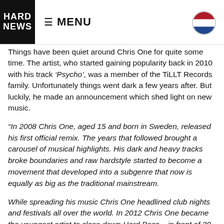HARD NEWS | MENU
Things have been quiet around Chris One for quite some time. The artist, who started gaining popularity back in 2010 with his track ‘Psycho’, was a member of the TiLLT Records family. Unfortunately things went dark a few years after. But luckily, he made an announcement which shed light on new music.
“In 2008 Chris One, aged 15 and born in Sweden, released his first official remix. The years that followed brought a carousel of musical highlights. His dark and heavy tracks broke boundaries and raw hardstyle started to become a movement that developed into a subgenre that now is equally as big as the traditional mainstream.
While spreading his music Chris One headlined club nights and festivals all over the world. In 2012 Chris One became the youngest artist to close down Hard Bass – in front of 30 000 people. After that, Martin slowly stepped back to focus on finishing his studies.